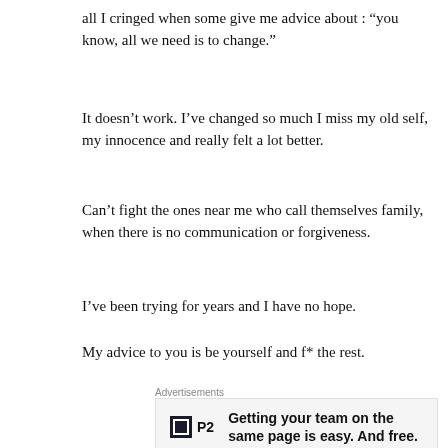all I cringed when some give me advice about : “you know, all we need is to change.”
It doesn’t work. I’ve changed so much I miss my old self, my innocence and really felt a lot better.
Can’t fight the ones near me who call themselves family, when there is no communication or forgiveness.
I’ve been trying for years and I have no hope.
My advice to you is be yourself and f* the rest.
Advertisements
[Figure (other): Advertisement banner: P2 logo with text 'Getting your team on the same page is easy. And free.']